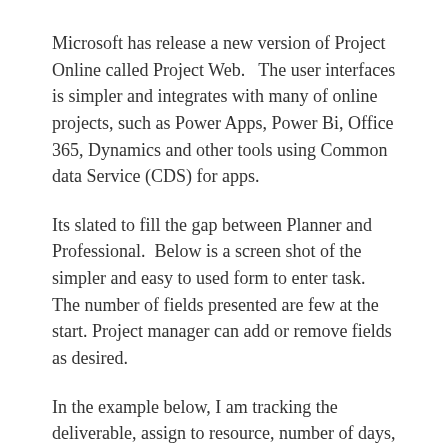Microsoft has release a new version of Project Online called Project Web.   The user interfaces is simpler and integrates with many of online projects, such as Power Apps, Power Bi, Office 365, Dynamics and other tools using Common data Service (CDS) for apps.
Its slated to fill the gap between Planner and Professional.  Below is a screen shot of the simpler and easy to used form to enter task.  The number of fields presented are few at the start. Project manager can add or remove fields as desired.
In the example below, I am tracking the deliverable, assign to resource, number of days, start and finish date.  The last three columns were added because I am from old school by counting each row in a list of tasks.